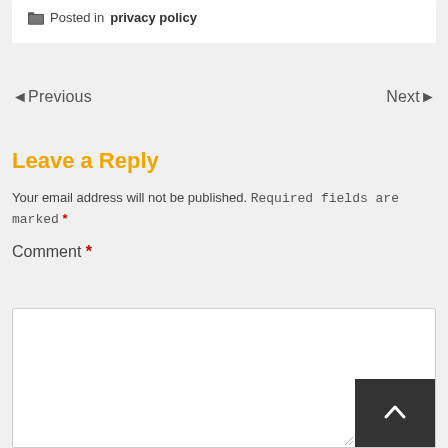Posted in privacy policy
◄Previous
Next►
Leave a Reply
Your email address will not be published. Required fields are marked *
Comment *